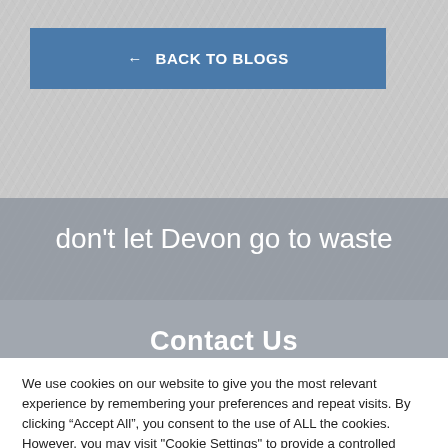[Figure (screenshot): Website screenshot showing a textured grey/white crumpled paper background with a blue 'Back to Blogs' button and a grey overlay banner with the text 'don't let Devon go to waste' and partially visible 'Contact Us' text.]
don't let Devon go to waste
Contact Us
We use cookies on our website to give you the most relevant experience by remembering your preferences and repeat visits. By clicking “Accept All”, you consent to the use of ALL the cookies. However, you may visit "Cookie Settings" to provide a controlled consent.
Cookie Settings
Accept All